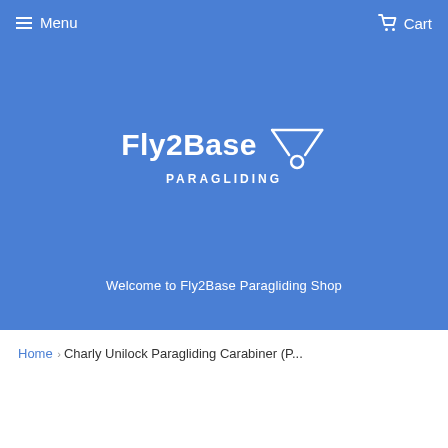Menu | Cart
[Figure (logo): Fly2Base Paragliding logo with stylized paraglider icon. Text reads 'Fly2Base PARAGLIDING' in white on blue background.]
Welcome to Fly2Base Paragliding Shop
Home › Charly Unilock Paragliding Carabiner (P...